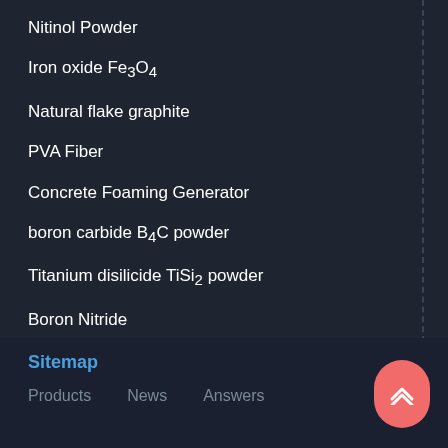Nitinol Powder
Iron oxide Fe3O4
Natural flake graphite
PVA Fiber
Concrete Foaming Generator
boron carbide B4C powder
Titanium disilicide TiSi2 powder
Boron Nitride
2-Mercaptomethylbenzimidazole Zinc
Sitemap  Products  News  Answers